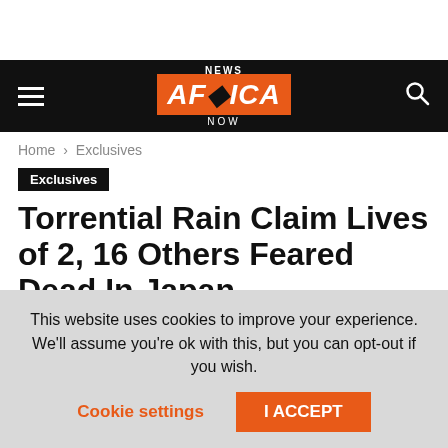NEWS AFRICA NOW
Home › Exclusives
Exclusives
Torrential Rain Claim Lives of 2, 16 Others Feared Dead In Japan
July 6, 2020   2259   0
This website uses cookies to improve your experience. We'll assume you're ok with this, but you can opt-out if you wish.
Cookie settings   I ACCEPT